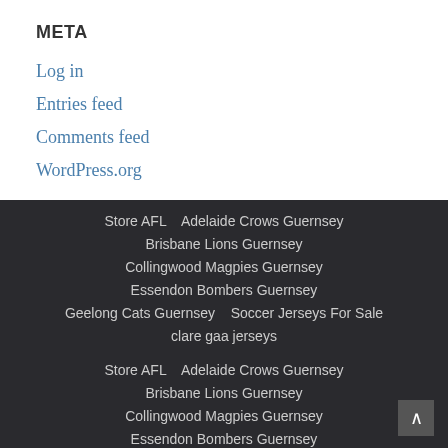META
Log in
Entries feed
Comments feed
WordPress.org
Store AFL   Adelaide Crows Guernsey   Brisbane Lions Guernsey   Collingwood Magpies Guernsey   Essendon Bombers Guernsey   Geelong Cats Guernsey   Soccer Jerseys For Sale   clare gaa jerseys
Store AFL   Adelaide Crows Guernsey   Brisbane Lions Guernsey   Collingwood Magpies Guernsey   Essendon Bombers Guernsey   Geelong Cats Guernsey   Soccer Jerseys For Sale   clare gaa jerseys